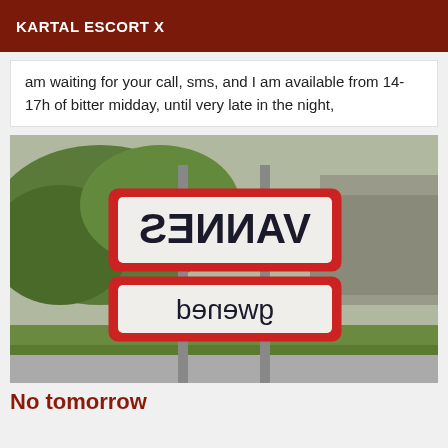KARTAL ESCORT X
am waiting for your call, sms, and I am available from 14-17h of bitter midday, until very late in the night,
[Figure (photo): Photo of two road signs mounted on a pole, both shown mirror-reversed. Top sign reads 'VANNES' (mirrored), bottom sign reads 'gwened' (mirrored). Background shows green trees and grass.]
No tomorrow